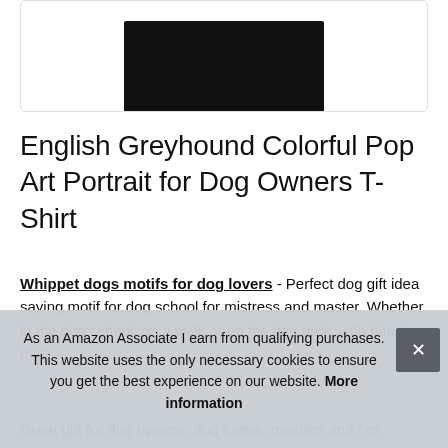[Figure (photo): Partial view of a black t-shirt product photo in a rounded rectangular box]
English Greyhound Colorful Pop Art Portrait for Dog Owners T-Shirt
Whippet dogs motifs for dog lovers - Perfect dog gift idea saying motif for dog school for mistress and master. Whether in the dog school, on a walk or on the dog park, with this dog mot
As an Amazon Associate I earn from qualifying purchases. This website uses the only necessary cookies to ensure you get the best experience on our website. More information
Great gift for dog owners, dog lovers, masters and / or